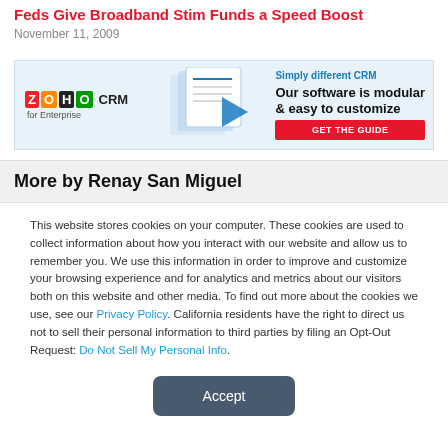Feds Give Broadband Stim Funds a Speed Boost
November 11, 2009
[Figure (other): Zoho CRM advertisement banner: Simply different CRM - Our software is modular & easy to customize - GET THE GUIDE]
More by Renay San Miguel
This website stores cookies on your computer. These cookies are used to collect information about how you interact with our website and allow us to remember you. We use this information in order to improve and customize your browsing experience and for analytics and metrics about our visitors both on this website and other media. To find out more about the cookies we use, see our Privacy Policy. California residents have the right to direct us not to sell their personal information to third parties by filing an Opt-Out Request: Do Not Sell My Personal Info.